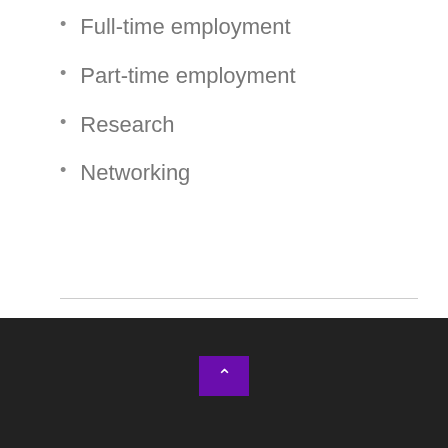Full-time employment
Part-time employment
Research
Networking